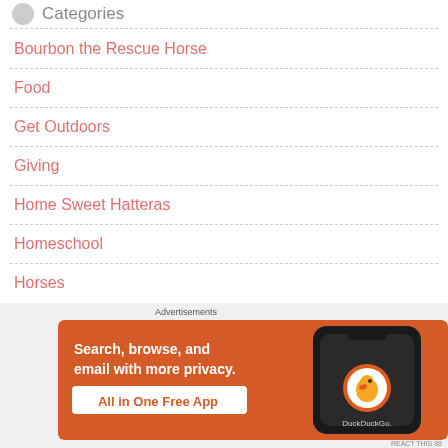Categories
Bourbon the Rescue Horse
Food
Get Outdoors
Giving
Home Sweet Hatteras
Homeschool
Horses
[Figure (screenshot): DuckDuckGo advertisement banner: orange background with white text 'Search, browse, and email with more privacy. All in One Free App' and a phone showing DuckDuckGo app logo.]